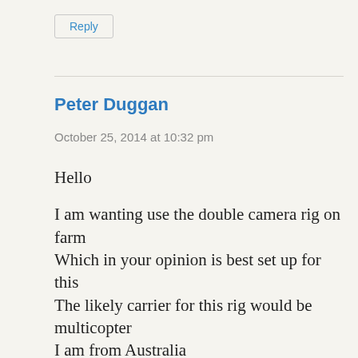Reply
Peter Duggan
October 25, 2014 at 10:32 pm
Hello

I am wanting use the double camera rig on farm
Which in your opinion is best set up for this
The likely carrier for this rig would be multicopter
I am from Australia
I know international shipping is issue